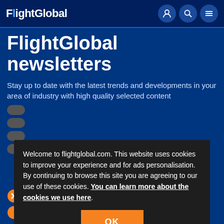FlightGlobal
FlightGlobal newsletters
Stay up to date with the latest trends and developments in your area of industry with high quality selected content
Welcome to flightglobal.com. This website uses cookies to improve your experience and for ads personalisation. By continuing to browse this site you are agreeing to our use of these cookies. You can learn more about the cookies we use here.
Jobseeker Update
Careers Update